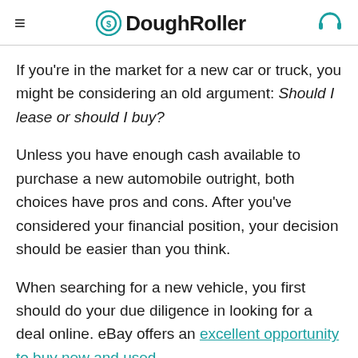DoughRoller
If you're in the market for a new car or truck, you might be considering an old argument: Should I lease or should I buy?
Unless you have enough cash available to purchase a new automobile outright, both choices have pros and cons. After you've considered your financial position, your decision should be easier than you think.
When searching for a new vehicle, you first should do your due diligence in looking for a deal online. eBay offers an excellent opportunity to buy new and used